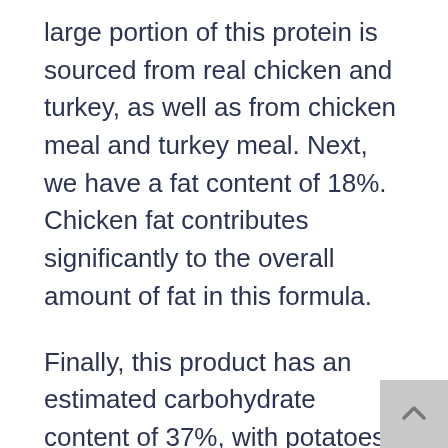large portion of this protein is sourced from real chicken and turkey, as well as from chicken meal and turkey meal. Next, we have a fat content of 18%. Chicken fat contributes significantly to the overall amount of fat in this formula.
Finally, this product has an estimated carbohydrate content of 37%, with potatoes and sweet potatoes supplying most of the carbs. This is a fairly average carb percentage that is appropriate for most adult dogs. This product is notable for its inclusion of pumpkin and carrots as dual sources of the essential pigment beta-carotene. Omega-rich chicken fat